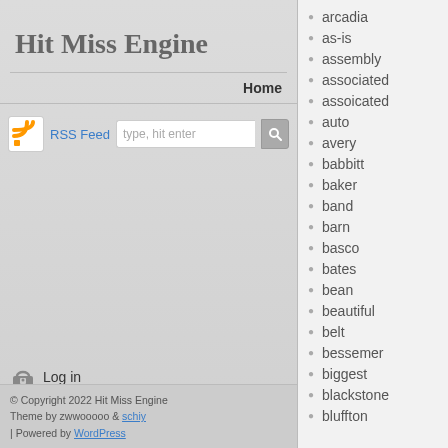Hit Miss Engine
Home
RSS Feed  type, hit enter
Log in
© Copyright 2022 Hit Miss Engine
Theme by zwwooooo & schiy
| Powered by WordPress
arcadia
as-is
assembly
associated
assoicated
auto
avery
babbitt
baker
band
barn
basco
bates
bean
beautiful
belt
bessemer
biggest
blackstone
bluffton